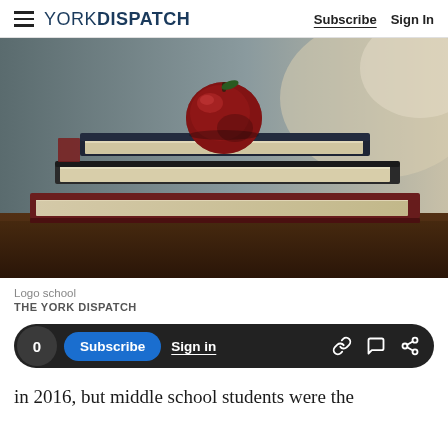YORK DISPATCH — Subscribe | Sign In
[Figure (photo): Stack of three hardcover books on a wooden table with a dark red apple placed on top, soft blurred background with warm light]
Logo school
THE YORK DISPATCH
in 2016, but middle school students were the